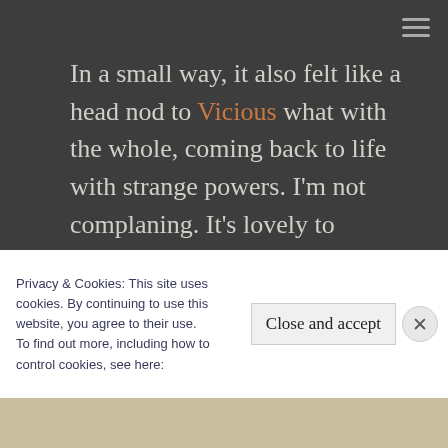In a small way, it also felt like a head nod to Vicious what with the whole, coming back to life with strange powers. I'm not complaning. It's lovely to imagine that these two series take place in the same universe.
On the whole, it was an enjoyable, if not slow start to what is going to be a fun adventure in
Privacy & Cookies: This site uses cookies. By continuing to use this website, you agree to their use.
To find out more, including how to control cookies, see here: